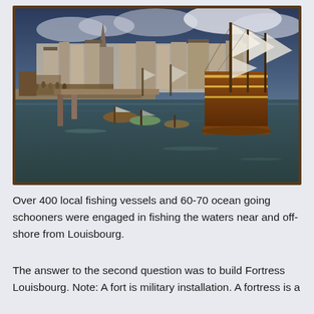[Figure (illustration): A large historical painting displayed on a museum wall, depicting the harbor of Louisbourg with over 400 fishing vessels and ocean-going schooners. The painting shows a panoramic view of the port city with tall-masted ships in the foreground, smaller fishing boats, docks with crowds of people, and the town's buildings along the waterfront in the background under a dramatic sky.]
Over 400 local fishing vessels and 60-70 ocean going schooners were engaged in fishing the waters near and off-shore from Louisbourg.
The answer to the second question was to build Fortress Louisbourg. Note: A fort is military installation. A fortress is a